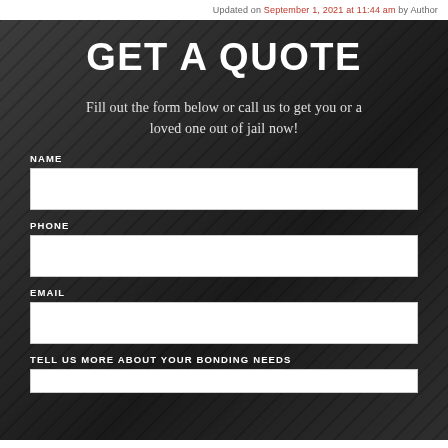Updated on September 1, 2021 at 11:44 am by Author
GET A QUOTE
Fill out the form below or call us to get you or a loved one out of jail now!
NAME
PHONE
EMAIL
TELL US MORE ABOUT YOUR BONDING NEEDS